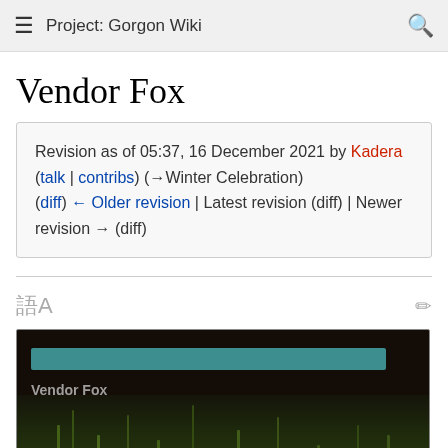Project: Gorgon Wiki
Vendor Fox
Revision as of 05:37, 16 December 2021 by Kadera (talk | contribs) (→Winter Celebration)
(diff) ← Older revision | Latest revision (diff) | Newer revision → (diff)
[Figure (screenshot): Vendor Fox infobox screenshot showing a teal progress/name bar above the text 'Vendor Fox' and a dark game scene with vegetation/bamboo in the background.]